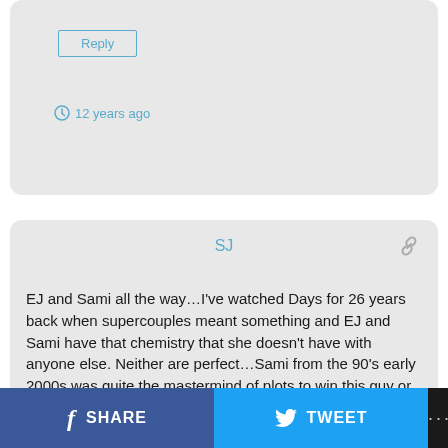Reply
12 years ago
SJ
EJ and Sami all the way…I've watched Days for 26 years back when supercouples meant something and EJ and Sami have that chemistry that she doesn't have with anyone else. Neither are perfect…Sami from the 90's early 2000s was quite the mastermind of plots to win this guy or that and we all know EJ's cunning schemes.
Reply
12 years ago
f SHARE   TWEET   ...